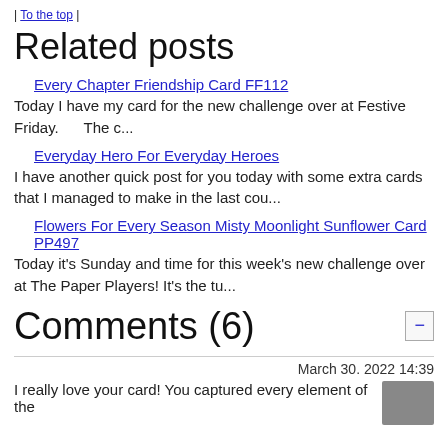| To the top |
Related posts
Every Chapter Friendship Card FF112
Today I have my card for the new challenge over at Festive Friday.      The c...
Everyday Hero For Everyday Heroes
I have another quick post for you today with some extra cards that I managed to make in the last cou...
Flowers For Every Season Misty Moonlight Sunflower Card PP497
Today it's Sunday and time for this week's new challenge over at The Paper Players! It's the tu...
Comments (6)
March 30. 2022 14:39
I really love your card! You captured every element of the